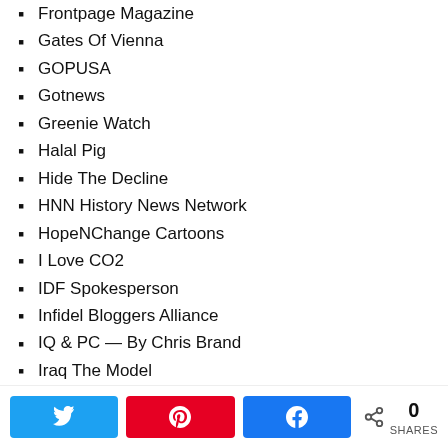Frontpage Magazine
Gates Of Vienna
GOPUSA
Gotnews
Greenie Watch
Halal Pig
Hide The Decline
HNN History News Network
HopeNChange Cartoons
I Love CO2
IDF Spokesperson
Infidel Bloggers Alliance
IQ & PC — By Chris Brand
Iraq The Model
Islam In Europe
Islam The Religion Of Peace
Islam Versus Europel
Islamophobic